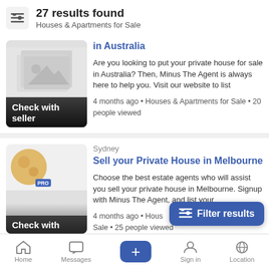27 results found
Houses & Apartments for Sale
[Figure (screenshot): Listing card with placeholder image. Title: in Australia. Description: Are you looking to put your private house for sale in Australia? Then, Minus The Agent is always here to help you. Visit our website to list. Meta: 4 months ago • Houses & Apartments for Sale • 20 people viewed. Check with seller label on image.]
[Figure (screenshot): Listing card for Sydney. Title: Sell your Private House in Melbourne. Description: Choose the best estate agents who will assist you sell your private house in Melbourne. Signup with Minus The Agent and list your... Meta: 4 months ago • Houses & Apartments for Sale • 25 people viewed. Check with label on image. PRO badge avatar shown.]
Filter results (overlay button)
Home | Messages | + | Sign in | Location